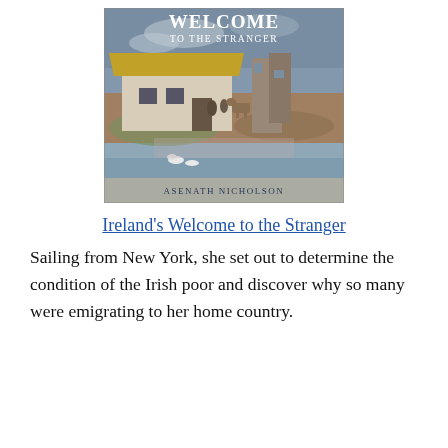[Figure (illustration): Book cover of 'Welcome to the Stranger' by Asenath Nicholson, showing a painted landscape of a thatched Irish cottage with figures and geese near water, with the title text overlaid in white and the author name at the bottom.]
Ireland's Welcome to the Stranger
Sailing from New York, she set out to determine the condition of the Irish poor and discover why so many were emigrating to her home country.